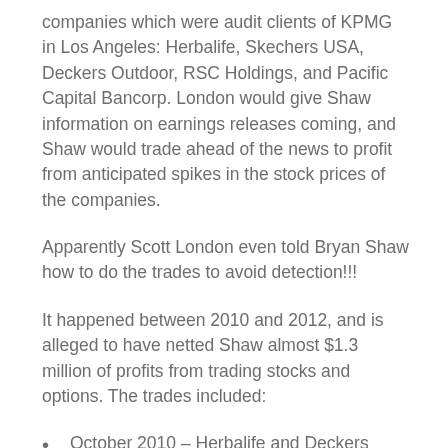companies which were audit clients of KPMG in Los Angeles: Herbalife, Skechers USA, Deckers Outdoor, RSC Holdings, and Pacific Capital Bancorp. London would give Shaw information on earnings releases coming, and Shaw would trade ahead of the news to profit from anticipated spikes in the stock prices of the companies.
Apparently Scott London even told Bryan Shaw how to do the trades to avoid detection!!!
It happened between 2010 and 2012, and is alleged to have netted Shaw almost $1.3 million of profits from trading stocks and options. The trades included:
October 2010 – Herbalife and Deckers trades